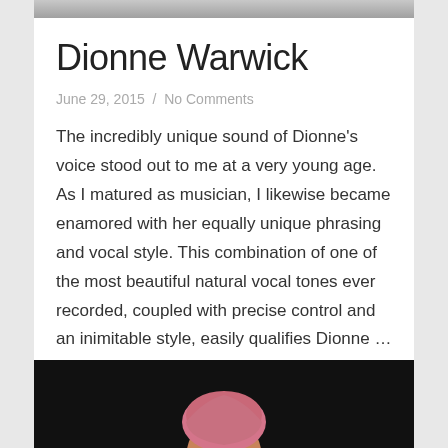[Figure (photo): Partial top image strip, cropped photo at top of page]
Dionne Warwick
June 29, 2015  /  No Comments
The incredibly unique sound of Dionne's voice stood out to me at a very young age. As I matured as musician, I likewise became enamored with her equally unique phrasing and vocal style. This combination of one of the most beautiful natural vocal tones ever recorded, coupled with precise control and an inimitable style, easily qualifies Dionne …
[Figure (photo): Partial bottom image of a person with a pink head covering against a black background, cropped at the bottom of the page]